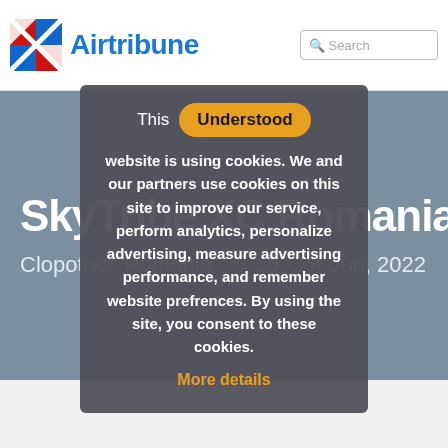Airtribune
SkyTribe XC Romanian &
Clopotiva, Romania   18 - 24 Jun, 2022
This [Understood] website is using cookies. We and our partners use cookies on this site to improve our service, perform analytics, personalize advertising, measure advertising performance, and remember website prefrences. By using the site, you consent to these cookies. More details